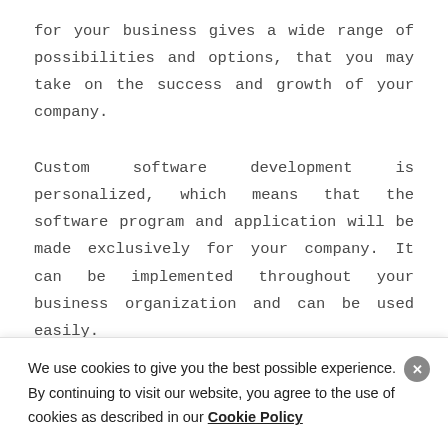for your business gives a wide range of possibilities and options, that you may take on the success and growth of your company.
Custom software development is personalized, which means that the software program and application will be made exclusively for your company. It can be implemented throughout your business organization and can be used easily.
2. Custom Software Are Obviously Mo...
We use cookies to give you the best possible experience. By continuing to visit our website, you agree to the use of cookies as described in our Cookie Policy